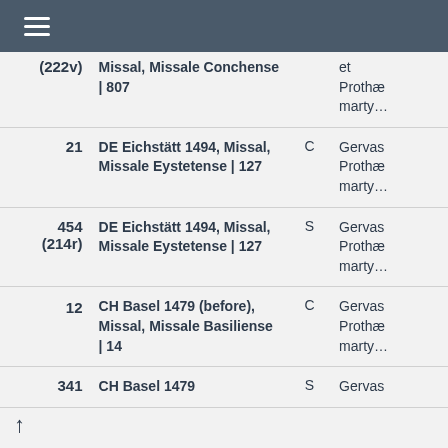≡
| # | Source | Type | Description |
| --- | --- | --- | --- |
| (222v) | Missal, Missale Conchense | 807 |  | et Proth… marty… |
| 21 | DE Eichstätt 1494, Missal, Missale Eystetense | 127 | C | Gervas Proth… marty… |
| 454 (214r) | DE Eichstätt 1494, Missal, Missale Eystetense | 127 | S | Gervas Proth… marty… |
| 12 | CH Basel 1479 (before), Missal, Missale Basiliense | 14 | C | Gervas Proth… marty… |
| 341 | CH Basel 1479 | S | Gervas |